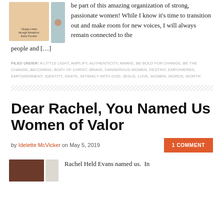[Figure (illustration): Two images side by side: a tan/beige book cover with text 'Change comes through disruption. Kathy Escobar' and a teal/blue abstract decorative image with a small heart shape.]
be part of this amazing organization of strong, passionate women! While I know it's time to transition out and make room for new voices, I will always remain connected to the people and […]
FILED UNDER: A LITTLE LIGHT, AMPLIFY, AUTHENTICITY, AWAKE, BE BOLD FOR CHANGE, BE THE CHANGE, BECOMING, BODY OF CHRIST, BRAVE, DANGEROUS WOMEN, DESTINY, EMPOWERED, EMPOWERMENT, IDENTITY, IGNITE, INTIMACY WITH GOD, JESUS, LOVE, WOMEN, WORDS, WORTH
Dear Rachel, You Named Us Women of Valor
by Idelette McVicker on May 5, 2019
1 COMMENT
[Figure (photo): Two images: a dark brown photo on the left and a light beige/cream abstract image on the right.]
Rachel Held Evans named us.  In